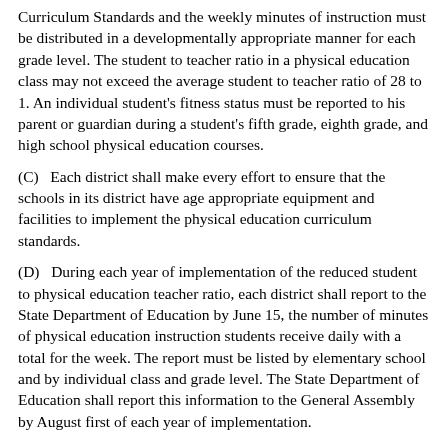Curriculum Standards and the weekly minutes of instruction must be distributed in a developmentally appropriate manner for each grade level. The student to teacher ratio in a physical education class may not exceed the average student to teacher ratio of 28 to 1. An individual student's fitness status must be reported to his parent or guardian during a student's fifth grade, eighth grade, and high school physical education courses.
(C)   Each district shall make every effort to ensure that the schools in its district have age appropriate equipment and facilities to implement the physical education curriculum standards.
(D)   During each year of implementation of the reduced student to physical education teacher ratio, each district shall report to the State Department of Education by June 15, the number of minutes of physical education instruction students receive daily with a total for the week. The report must be listed by elementary school and by individual class and grade level. The State Department of Education shall report this information to the General Assembly by August first of each year of implementation.
Section 59-10-20.   Each public school in this State shall administer the South Carolina Physical Education Assessment. Assessment of students in second grade, fifth grade, eighth grade, and high school must be used to assess the effectiveness of the